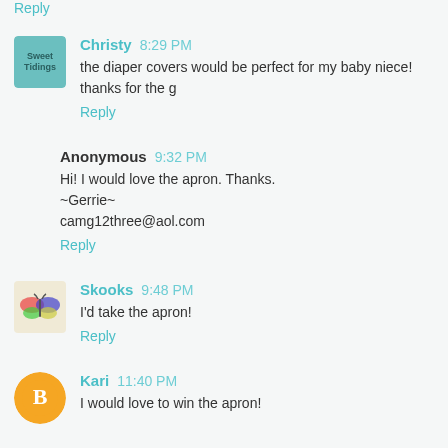Reply
Christy 8:29 PM
the diaper covers would be perfect for my baby niece! thanks for the g
Reply
Anonymous 9:32 PM
Hi! I would love the apron. Thanks.
~Gerrie~
camg12three@aol.com
Reply
Skooks 9:48 PM
I'd take the apron!
Reply
Kari 11:40 PM
I would love to win the apron!